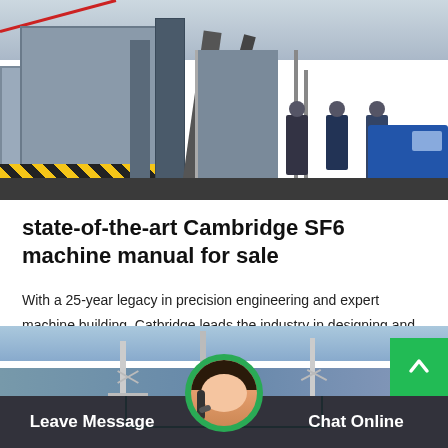[Figure (photo): Industrial scene showing heavy machinery, SF6 equipment, workers in hard hats, and a blue truck on an outdoor worksite]
state-of-the-art Cambridge SF6 machine manual for sale
With a 25-year legacy in precision engineering and expert machine building, Catbridge leads the industry in designing and manufacturing state-of-the-art web converting solutions. We deliver innovative, highly-productive slitter rewinders and converting…
Get Price
[Figure (photo): Outdoor scene with power transmission towers/wind turbines against a blue sky]
Leave Message
Chat Online